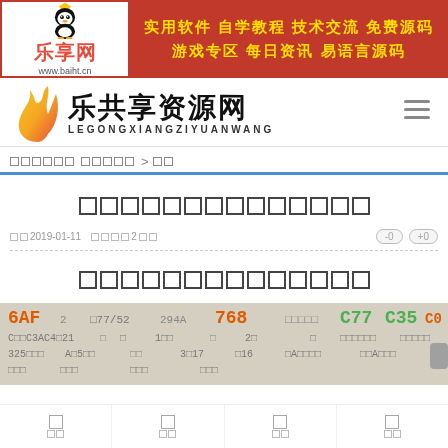[Figure (screenshot): Website banner with red background showing 乐享网 (Lexiang) logo on left with QQ penguin mascot, and yellow Chinese text on right listing features: 实用软件 自学教程 技术交流 免费源码 游戏专区 每日资讯 易语言源码]
[Figure (logo): 乐共享资源网 logo with flame graphic on left, large Chinese characters 乐共享资源网, and romanized text LEGONGXIANGZIYUANWANG below]
□□□□□□ □□□□□ > □□
□□□□□□□□□□□□□□
□□ 2019-01-11  □□□□2□□   -0   +0
□□□□□□□□□□□□□□
[Figure (screenshot): Code or hex data screenshot showing colored text: 6AF, 768, C77, C35, C0E in orange and green on grayish background with rows of hex/code values]
□ □□
□ □□
□ □□
□ □□